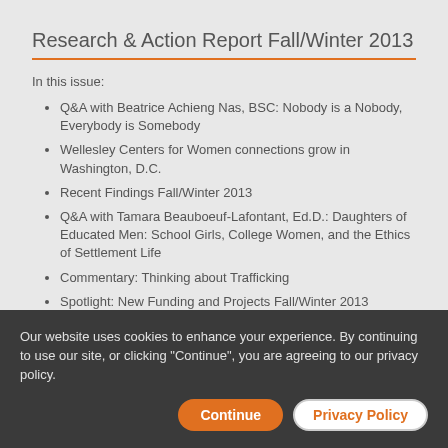Research & Action Report Fall/Winter 2013
In this issue:
Q&A with Beatrice Achieng Nas, BSC: Nobody is a Nobody, Everybody is Somebody
Wellesley Centers for Women connections grow in Washington, D.C.
Recent Findings Fall/Winter 2013
Q&A with Tamara Beauboeuf-Lafontant, Ed.D.: Daughters of Educated Men: School Girls, College Women, and the Ethics of Settlement Life
Commentary: Thinking about Trafficking
Spotlight: New Funding and Projects Fall/Winter 2013
View this issue as a PDF >>
Our website uses cookies to enhance your experience. By continuing to use our site, or clicking "Continue", you are agreeing to our privacy policy.